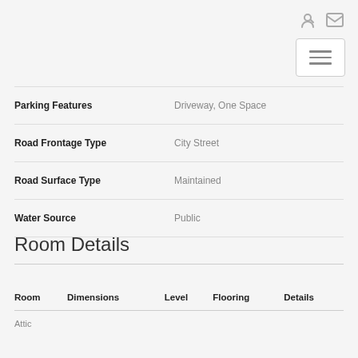icons: login, mail, hamburger menu
| Parking Features | Driveway, One Space |
| Road Frontage Type | City Street |
| Road Surface Type | Maintained |
| Water Source | Public |
Room Details
| Room | Dimensions | Level | Flooring | Details |
| --- | --- | --- | --- | --- |
| Attic |  |  |  |  |